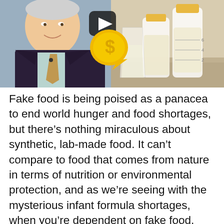[Figure (photo): Composite image: left side shows an elderly man in a dark suit with light blue shirt and patterned tie, smiling; center has a video play button overlay with a yellow speech-bubble/dollar-sign icon; right side shows milk bottles/baby formula bottles on a countertop]
Fake food is being poised as a panacea to end world hunger and food shortages, but there's nothing miraculous about synthetic, lab-made food. It can't compare to food that comes from nature in terms of nutrition or environmental protection, and as we're seeing with the mysterious infant formula shortages, when you're dependent on fake food, your very survival is also dependent on the handful of companies that manufacture them.